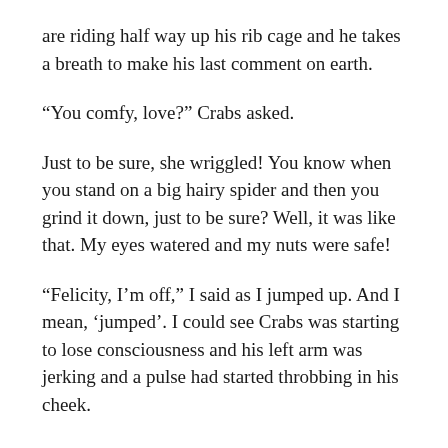are riding half way up his rib cage and he takes a breath to make his last comment on earth.
“You comfy, love?” Crabs asked.
Just to be sure, she wriggled! You know when you stand on a big hairy spider and then you grind it down, just to be sure? Well, it was like that. My eyes watered and my nuts were safe!
“Felicity, I’m off,” I said as I jumped up. And I mean, ‘jumped’. I could see Crabs was starting to lose consciousness and his left arm was jerking and a pulse had started throbbing in his cheek.